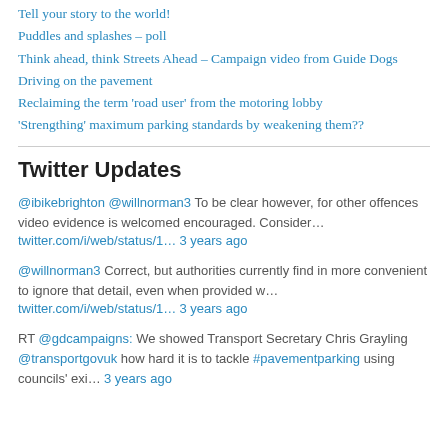Tell your story to the world!
Puddles and splashes – poll
Think ahead, think Streets Ahead – Campaign video from Guide Dogs
Driving on the pavement
Reclaiming the term 'road user' from the motoring lobby
'Strengthing' maximum parking standards by weakening them??
Twitter Updates
@ibikebrighton @willnorman3 To be clear however, for other offences video evidence is welcomed encouraged. Consider… twitter.com/i/web/status/1… 3 years ago
@willnorman3 Correct, but authorities currently find in more convenient to ignore that detail, even when provided w… twitter.com/i/web/status/1… 3 years ago
RT @gdcampaigns: We showed Transport Secretary Chris Grayling @transportgovuk how hard it is to tackle #pavementparking using councils' exi… 3 years ago